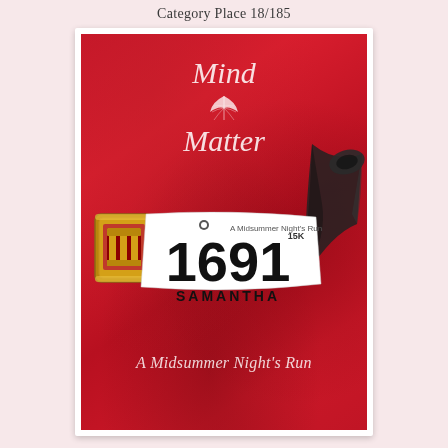Category Place 18/185
[Figure (photo): Photo of a red athletic shirt with white cursive text reading 'Mind Matter' and 'A Midsummer Night's Run', displayed alongside a race medal with black ribbon and a race bib numbered 1691 for runner named Samantha, 15K event.]